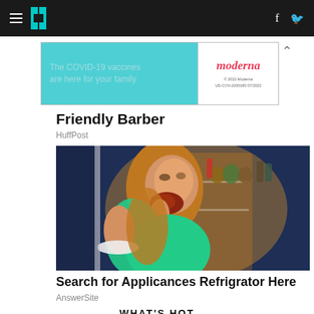HuffPost navigation bar with hamburger menu, logo, Facebook and Twitter icons
[Figure (screenshot): Moderna advertisement banner — teal background with text 'The COVID-19 vaccines are here for your family' and Moderna logo on white panel with fine print '© 2022 Moderna US-COV-2200180 07/2022']
Friendly Barber
HuffPost
[Figure (photo): Young woman eating food (pizza/pastry) in front of open refrigerator at night, lit by warm refrigerator light against a dark blue kitchen background]
Search for Applicances Refrigrator Here
AnswerSite
WHAT'S HOT